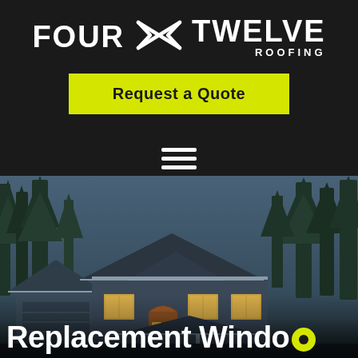[Figure (logo): Four Twelve Roofing logo: white bold text 'FOUR' and 'TWELVE' with a stylized infinity/cross icon between them, 'ROOFING' in smaller caps below 'TWELVE']
Request a Quote
[Figure (other): Hamburger menu icon: three horizontal white lines]
[Figure (photo): Exterior photo of a dark blue/grey craftsman-style house at dusk with tall evergreen trees in background and illuminated windows]
Replacement Windows